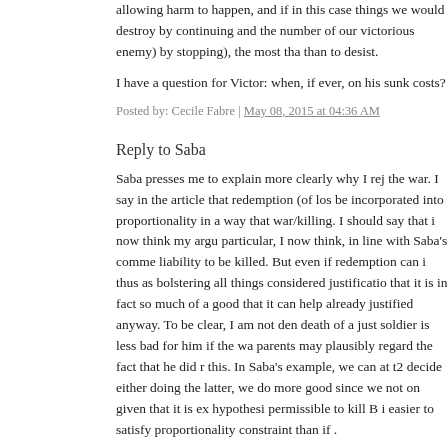allowing harm to happen, and if in this case things we would destroy by continuing and the number of our victorious enemy) by stopping), the most tha than to desist.
I have a question for Victor: when, if ever, on his sunk costs?
Posted by: Cecile Fabre | May 08, 2015 at 04:36 AM
Reply to Saba
Saba presses me to explain more clearly why I rej the war. I say in the article that redemption (of los be incorporated into proportionality in a way that war/killing. I should say that i now think my argu particular, I now think, in line with Saba's comme liability to be killed. But even if redemption can i thus as bolstering all things considered justificatio that it is in fact so much of a good that it can help already justified anyway. To be clear, I am not den death of a just soldier is less bad for him if the wa parents may plausibly regard the fact that he did r this. In Saba's example, we can at t2 decide either doing the latter, we do more good since we not on given that it is ex hypothesi permissible to kill B i easier to satisfy proportionality constraint than if .
To illustrate: compare the case where A is termina